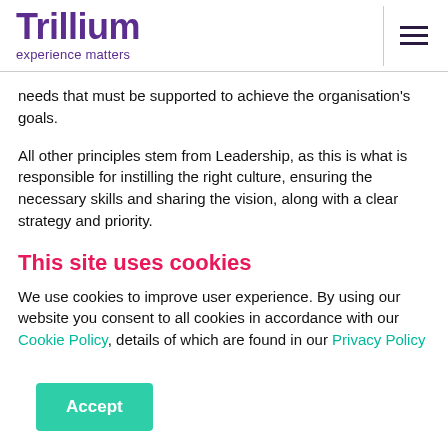Trillium experience matters
needs that must be supported to achieve the organisation's goals.
All other principles stem from Leadership, as this is what is responsible for instilling the right culture, ensuring the necessary skills and sharing the vision, along with a clear strategy and priority.
This site uses cookies
We use cookies to improve user experience. By using our website you consent to all cookies in accordance with our Cookie Policy, details of which are found in our Privacy Policy
Accept